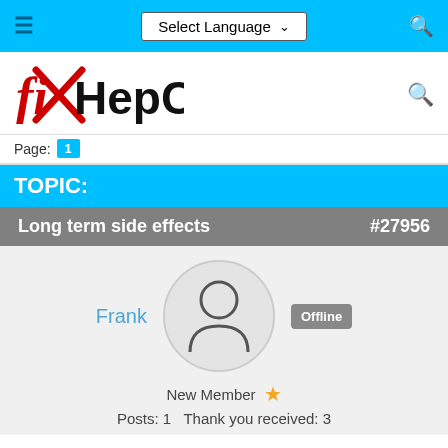Select Language
[Figure (logo): fixHepC logo with red X overlaid on 'fi' in red script and 'HepC' in black bold text]
Page: 1
TOPIC:
Long term side effects   #27956
Frank   Offline
New Member ★
Posts: 1   Thank you received: 3
Hello.